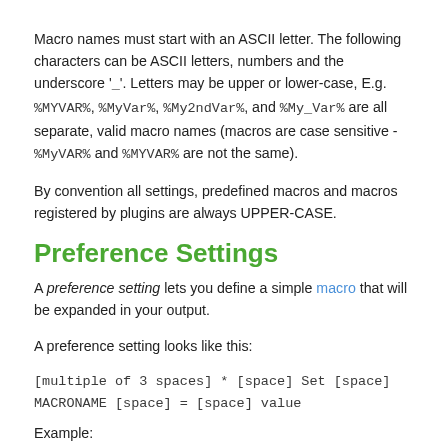Macro names must start with an ASCII letter. The following characters can be ASCII letters, numbers and the underscore '_'. Letters may be upper or lower-case, E.g. %MYVAR%, %MyVar%, %My2ndVar%, and %My_Var% are all separate, valid macro names (macros are case sensitive - %MyVAR% and %MYVAR% are not the same).
By convention all settings, predefined macros and macros registered by plugins are always UPPER-CASE.
Preference Settings
A preference setting lets you define a simple macro that will be expanded in your output.
A preference setting looks like this:
[multiple of 3 spaces] * [space] Set [space] MACRONAME [space] = [space] value
Example: